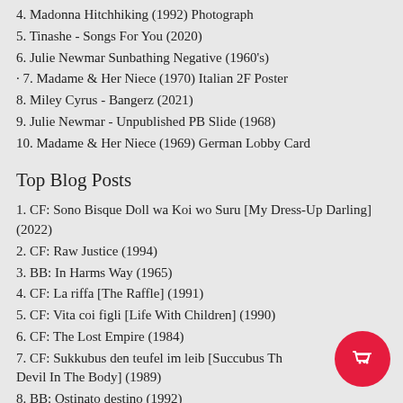4. Madonna Hitchhiking (1992) Photograph
5. Tinashe - Songs For You (2020)
6. Julie Newmar Sunbathing Negative (1960's)
7. Madame & Her Niece (1970) Italian 2F Poster
8. Miley Cyrus - Bangerz (2021)
9. Julie Newmar - Unpublished PB Slide (1968)
10. Madame & Her Niece (1969) German Lobby Card
Top Blog Posts
1. CF: Sono Bisque Doll wa Koi wo Suru [My Dress-Up Darling] (2022)
2. CF: Raw Justice (1994)
3. BB: In Harms Way (1965)
4. CF: La riffa [The Raffle] (1991)
5. CF: Vita coi figli [Life With Children] (1990)
6. CF: The Lost Empire (1984)
7. CF: Sukkubus den teufel im leib [Succubus The Devil In The Body] (1989)
8. BB: Ostinato destino (1992)